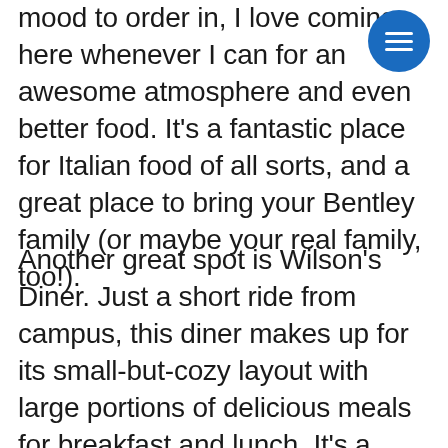mood to order in, I love coming here whenever I can for an awesome atmosphere and even better food. It's a fantastic place for Italian food of all sorts, and a great place to bring your Bentley family (or maybe your real family, too!).
[Figure (other): Blue circular hamburger menu button with three horizontal white lines]
Another great spot is Wilson's Diner. Just a short ride from campus, this diner makes up for its small-but-cozy layout with large portions of delicious meals for breakfast and lunch. It's a great spot for groups of 4 or less, but might be difficult to seat large parties during peak business hours on weekend mornings and early afternoons. Make sure to get there